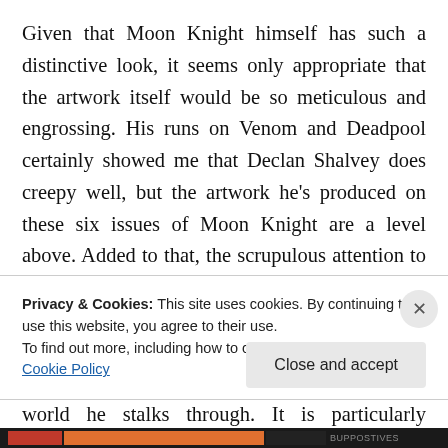Given that Moon Knight himself has such a distinctive look, it seems only appropriate that the artwork itself would be so meticulous and engrossing. His runs on Venom and Deadpool certainly showed me that Declan Shalvey does creepy well, but the artwork he's produced on these six issues of Moon Knight are a level above. Added to that, the scrupulous attention to detail in Jordie Bellaire's colours and you have a dream-team book. The decision to keep Moon Knight himself uncoloured is inspired, granting a visceral contrast between Moon Knight and the world he stalks through. It is particularly effective when the Moon
Privacy & Cookies: This site uses cookies. By continuing to use this website, you agree to their use.
To find out more, including how to control cookies, see here: Cookie Policy